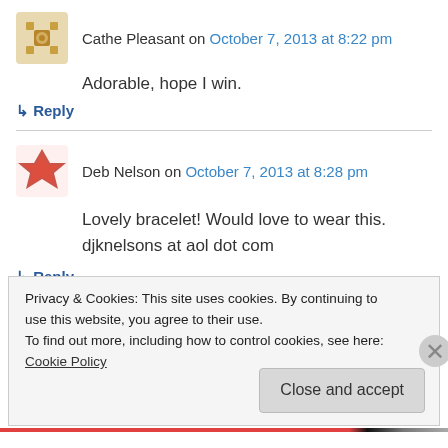Cathe Pleasant on October 7, 2013 at 8:22 pm
Adorable, hope I win.
↳ Reply
Deb Nelson on October 7, 2013 at 8:28 pm
Lovely bracelet! Would love to wear this. djknelsons at aol dot com
↳ Reply
Privacy & Cookies: This site uses cookies. By continuing to use this website, you agree to their use. To find out more, including how to control cookies, see here: Cookie Policy
Close and accept